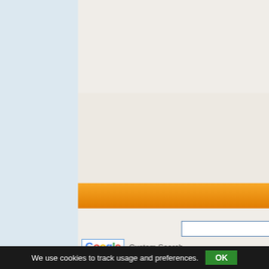[Figure (screenshot): Screenshot of a travel/hotel search website. Left side has a light blue sidebar. Main content area shows an orange navigation bar, a Google Custom Search widget with Google logo and search input, another orange bar labeled SEARCHHOTELS, a SearcHotel widget with magnifier logo and booking fields for Destination (cleveland crossroads), Checkin (27, Aug 22), Checkout (28). At the bottom is a dark cookie consent bar reading: We use cookies to track usage and preferences. OK]
Custom Search
SEARCHHOTELS
SearcHotel
Destination
cleveland crossroads
Checkin
27
Aug '22
Checkout
28
We use cookies to track usage and preferences.  OK